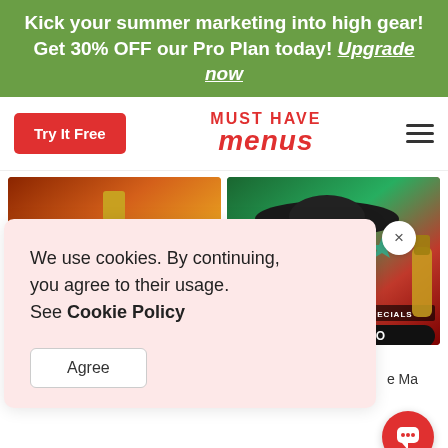Kick your summer marketing into high gear! Get 30% OFF our Pro Plan today! Upgrade now
[Figure (screenshot): Must Have Menus website navigation bar with Try It Free button, logo, and hamburger menu]
[Figure (screenshot): Two promotional menu template images side by side - tequila themed and Mexican fiesta themed]
We use cookies. By continuing, you agree to their usage. See Cookie Policy
Agree